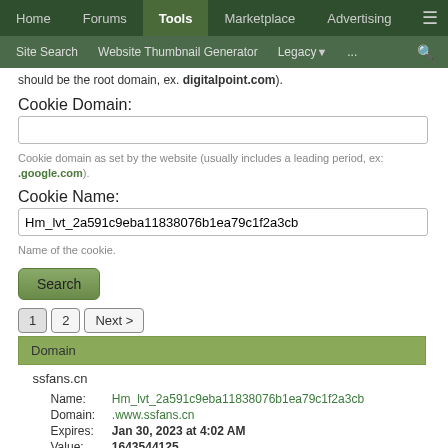Home | Forums | Tools | Marketplace | Advertising | ≡ | Site Search | Website Thumbnail Generator | Legacy | ... | 🔍
should be the root domain, ex. digitalpoint.com).
Cookie Domain:
Cookie domain as set by the website (usually includes a leading period, ex: .google.com).
Cookie Name:
Hm_lvt_2a591c9eba11838076b1ea79c1f2a3cb
Name of the cookie.
Search
1  2  Next >
| Domain |
| --- |
| ssfans.cn |
| Name: Hm_lvt_2a591c9eba11838076b1ea79c1f2a3cb |
| Domain: .www.ssfans.cn |
| Expires: Jan 30, 2023 at 4:02 AM |
| Value: 1643544125 |